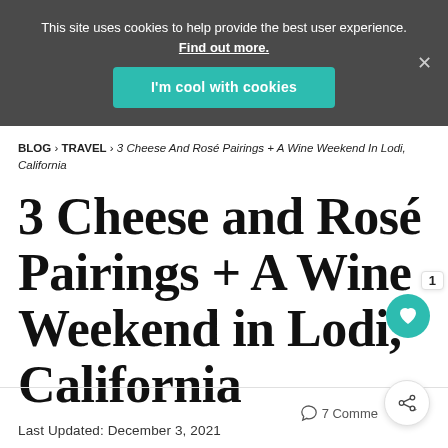This site uses cookies to help provide the best user experience. Find out more.
I'm cool with cookies
BLOG › TRAVEL › 3 Cheese And Rosé Pairings + A Wine Weekend In Lodi, California
3 Cheese and Rosé Pairings + A Wine Weekend in Lodi, California
Last Updated: December 3, 2021
7 Comments